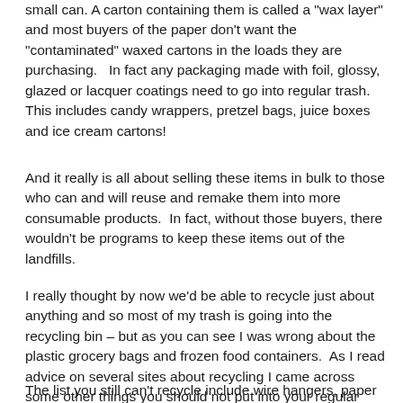small can. A carton containing them is called a "wax layer" and most buyers of the paper don't want the "contaminated" waxed cartons in the loads they are purchasing. In fact any packaging made with foil, glossy, glazed or lacquer coatings need to go into regular trash. This includes candy wrappers, pretzel bags, juice boxes and ice cream cartons!
And it really is all about selling these items in bulk to those who can and will reuse and remake them into more consumable products. In fact, without those buyers, there wouldn't be programs to keep these items out of the landfills.
I really thought by now we'd be able to recycle just about anything and so most of my trash is going into the recycling bin – but as you can see I was wrong about the plastic grocery bags and frozen food containers. As I read advice on several sites about recycling I came across some other things you should not put into your regular recycling. I am still hopeful someday we'll find a way to recycle everything.
The list you still can't recycle include wire hangers, paper...